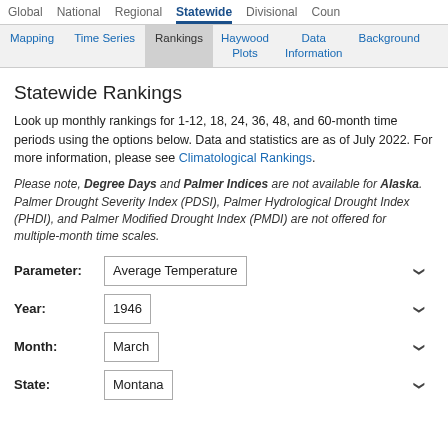Global  National  Regional  Statewide  Divisional  Coun
Mapping  Time Series  Rankings  Haywood Plots  Data Information  Background
Statewide Rankings
Look up monthly rankings for 1-12, 18, 24, 36, 48, and 60-month time periods using the options below. Data and statistics are as of July 2022. For more information, please see Climatological Rankings.
Please note, Degree Days and Palmer Indices are not available for Alaska. Palmer Drought Severity Index (PDSI), Palmer Hydrological Drought Index (PHDI), and Palmer Modified Drought Index (PMDI) are not offered for multiple-month time scales.
Parameter: Average Temperature
Year: 1946
Month: March
State: Montana